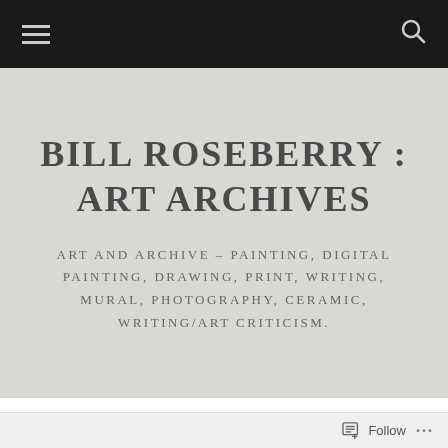Navigation bar with hamburger menu and search icon
BILL ROSEBERRY : ART ARCHIVES
ART AND ARCHIVE – PAINTING, DIGITAL PAINTING, DRAWING, PRINT, WRITING, MURAL, PHOTOGRAPHY, CERAMIC, WRITING/ART CRITICISM.
Follow ...